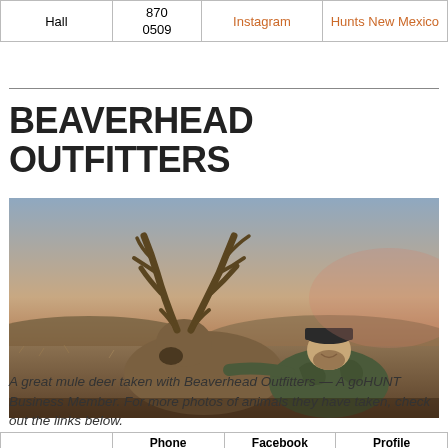|  |  | Instagram | Hunts New Mexico |
| --- | --- | --- | --- |
| Hall | 870
0509 | Instagram | Hunts New Mexico |
BEAVERHEAD OUTFITTERS
[Figure (photo): A hunter in camouflage gear sitting behind a large mule deer with impressive antlers in an open grassland/desert landscape at dusk.]
A great mule deer taken with Beaverhead Outfitters — A goHUNT Business Member. For more photos of animals they have taken, check out the links below.
|  | Phone | Facebook | Profile |